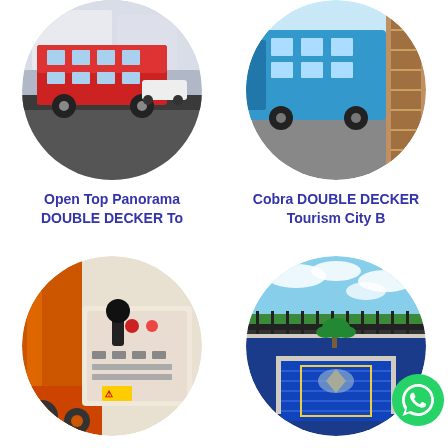[Figure (photo): Circular photo of a colorful open top panorama double decker bus on a city street]
Open Top Panorama DOUBLE DECKER To
[Figure (photo): Circular photo of a blue Cobra double decker tourism city bus]
Cobra DOUBLE DECKER Tourism City B
[Figure (photo): Circular photo of orange vacuum dehydration type hydraulic equipment with joystick controls]
Vacuum dehydration type Hydraulic
[Figure (photo): Circular photo of a blue and colorful South Western styled seating area with patterned rug on rooftop]
Wholesale South We. Styling Fl
[Figure (logo): WhatsApp green circle button with phone icon]